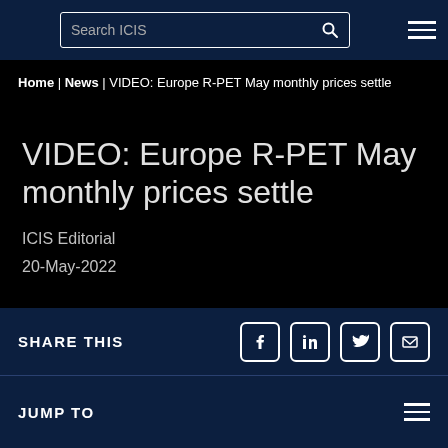Search ICIS
Home | News | VIDEO: Europe R-PET May monthly prices settle
VIDEO: Europe R-PET May monthly prices settle
ICIS Editorial
20-May-2022
SHARE THIS
JUMP TO